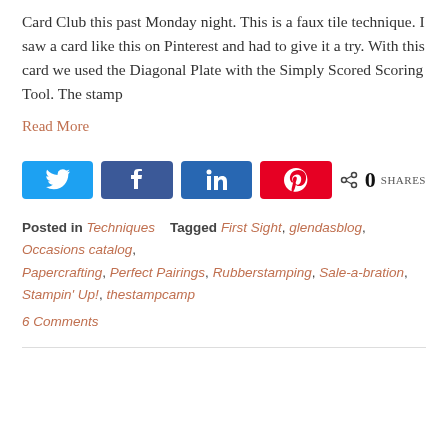Card Club this past Monday night. This is a faux tile technique. I saw a card like this on Pinterest and had to give it a try. With this card we used the Diagonal Plate with the Simply Scored Scoring Tool. The stamp
Read More
[Figure (infographic): Social share buttons: Twitter (blue), Facebook (blue), LinkedIn (dark blue), Pinterest (red), and share count showing 0 SHARES]
Posted in Techniques   Tagged First Sight, glendasblog, Occasions catalog, Papercrafting, Perfect Pairings, Rubberstamping, Sale-a-bration, Stampin' Up!, thestampcamp
6 Comments